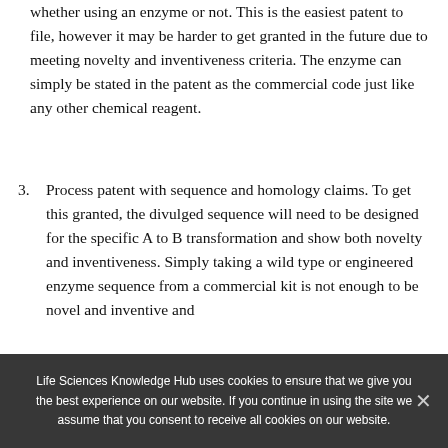whether using an enzyme or not. This is the easiest patent to file, however it may be harder to get granted in the future due to meeting novelty and inventiveness criteria. The enzyme can simply be stated in the patent as the commercial code just like any other chemical reagent.
3. Process patent with sequence and homology claims. To get this granted, the divulged sequence will need to be designed for the specific A to B transformation and show both novelty and inventiveness. Simply taking a wild type or engineered enzyme sequence from a commercial kit is not enough to be novel and inventive and
Life Sciences Knowledge Hub uses cookies to ensure that we give you the best experience on our website. If you continue in using the site we assume that you consent to receive all cookies on our website.